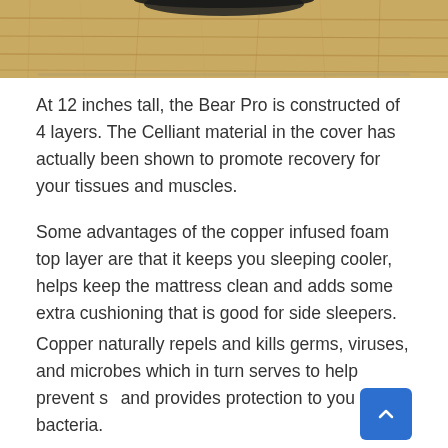[Figure (photo): Partial view of a wooden floor with warm honey-brown tones, appears to be a hardwood floor close-up, top portion of the page]
At 12 inches tall, the Bear Pro is constructed of 4 layers. The Celliant material in the cover has actually been shown to promote recovery for your tissues and muscles.
Some advantages of the copper infused foam top layer are that it keeps you sleeping cooler, helps keep the mattress clean and adds some extra cushioning that is good for side sleepers.
Copper naturally repels and kills germs, viruses, and microbes which in turn serves to help prevent s... and provides protection to you from bacteria.